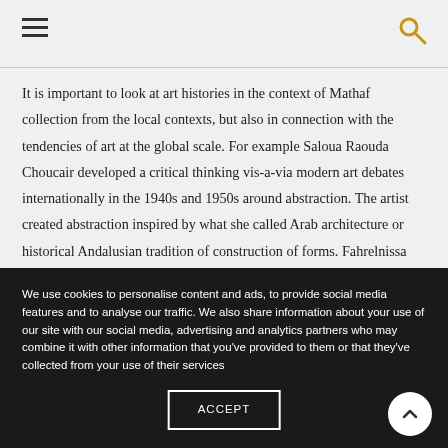[hamburger menu icon] [search icon]
It is important to look at art histories in the context of Mathaf collection from the local contexts, but also in connection with the tendencies of art at the global scale. For example Saloua Raouda Choucair developed a critical thinking vis-a-via modern art debates internationally in the 1940s and 1950s around abstraction. The artist created abstraction inspired by what she called Arab architecture or historical Andalusian tradition of construction of forms. Fahrelnissa Zeid is another
We use cookies to personalise content and ads, to provide social media features and to analyse our traffic. We also share information about your use of our site with our social media, advertising and analytics partners who may combine it with other information that you've provided to them or that they've collected from your use of their services
ACCEPT